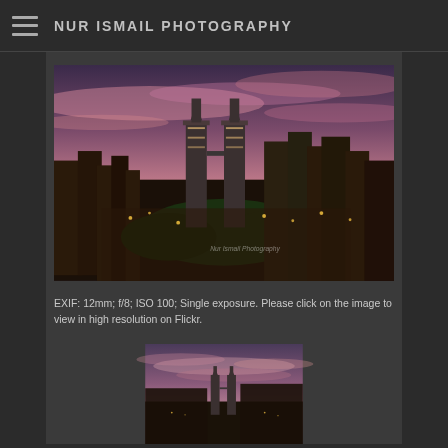NUR ISMAIL PHOTOGRAPHY
[Figure (photo): Aerial/elevated photograph of Kuala Lumpur skyline at dusk/twilight, featuring the Petronas Twin Towers prominently, with dramatic pink and purple sky, city lights, and lush greenery in the foreground]
EXIF: 12mm; f/8; ISO 100; Single exposure. Please click on the image to view in high resolution on Flickr.
[Figure (photo): Second photograph of Kuala Lumpur skyline, partially visible at the bottom of the page, showing Petronas Twin Towers under similar twilight sky with streaked clouds]